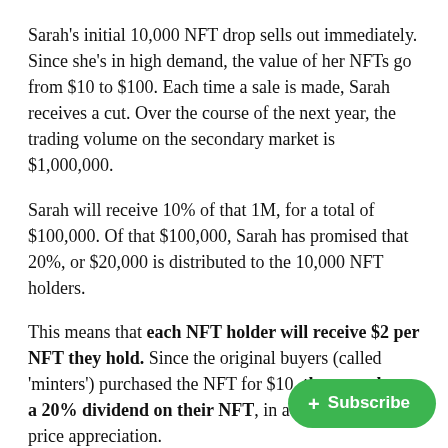Sarah's initial 10,000 NFT drop sells out immediately. Since she's in high demand, the value of her NFTs go from $10 to $100. Each time a sale is made, Sarah receives a cut. Over the course of the next year, the trading volume on the secondary market is $1,000,000.
Sarah will receive 10% of that 1M, for a total of $100,000. Of that $100,000, Sarah has promised that 20%, or $20,000 is distributed to the 10,000 NFT holders.
This means that each NFT holder will receive $2 per NFT they hold. Since the original buyers (called 'minters') purchased the NFT for $10, they now have a 20% dividend on their NFT, in addition to any price appreciation.